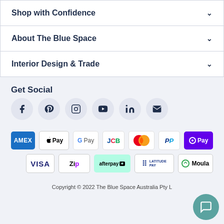Shop with Confidence
About The Blue Space
Interior Design & Trade
Get Social
[Figure (infographic): Row of social media icon buttons: Facebook, Pinterest, Instagram, YouTube, LinkedIn, Email]
[Figure (infographic): Payment method logos: AMEX, Apple Pay, Google Pay, JCB, Mastercard, PayPal, OPay, Visa, Zip, Afterpay, Latitude Pay, Moula]
Copyright © 2022 The Blue Space Australia Pty L...